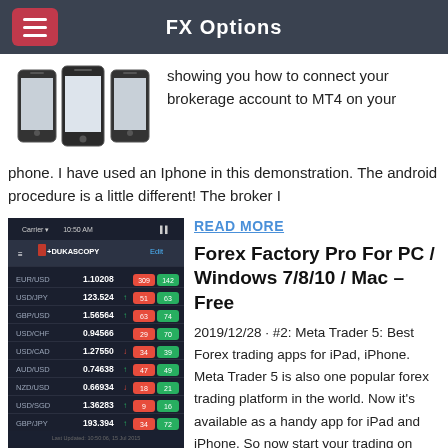FX Options
[Figure (photo): Three smartphones shown side by side]
showing you how to connect your brokerage account to MT4 on your phone. I have used an Iphone in this demonstration. The android procedure is a little different! The broker I
[Figure (screenshot): Dukascopy mobile app screenshot showing forex currency pairs: EUR/USD 1.10208, USD/JPY 123.524, GBP/USD 1.56564, USD/CHF 0.94566, USD/CAD 1.27550, AUD/USD 0.74638, NZD/USD 0.66934, USD/SGD 1.36283, GBP/JPY 193.394]
READ MORE
Forex Factory Pro For PC / Windows 7/8/10 / Mac – Free
2019/12/28 · #2: Meta Trader 5: Best Forex trading apps for iPad, iPhone. Meta Trader 5 is also one popular forex trading platform in the world. Now it's available as a handy app for iPad and iPhone. So now start your trading on iPad